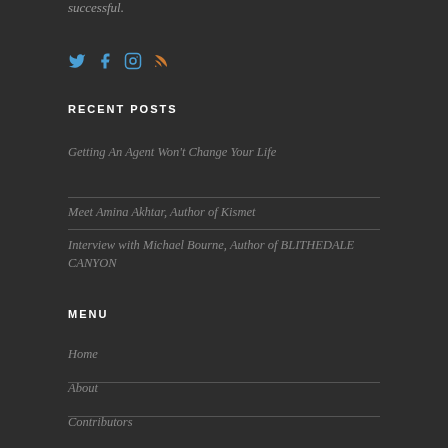successful.
[Figure (other): Social media icons: Twitter (bird), Facebook (f), Instagram (camera), RSS (feed)]
RECENT POSTS
Getting An Agent Won't Change Your Life
Meet Amina Akhtar, Author of Kismet
Interview with Michael Bourne, Author of BLITHEDALE CANYON
MENU
Home
About
Contributors